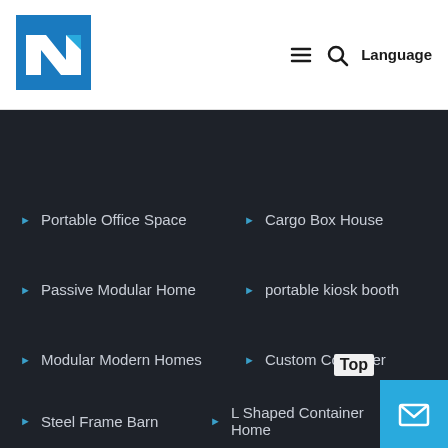[Figure (logo): Blue square logo with white N letter and geometric shapes]
≡  🔍  Language
Portable Office Space
Cargo Box House
Passive Modular Home
portable kiosk booth
Modular Modern Homes
Custom Container
Steel Frame Barn
L Shaped Container Home
Top
[Figure (illustration): Mail/envelope icon on cyan blue button]